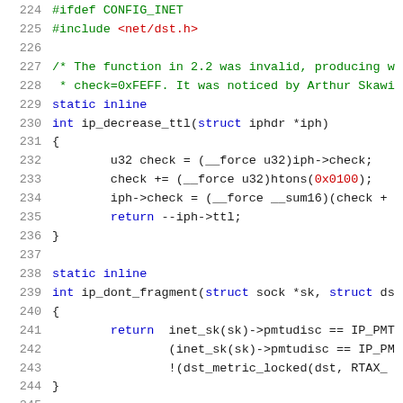Source code listing, lines 224-245, C kernel networking code (ip_decrease_ttl and ip_dont_fragment functions)